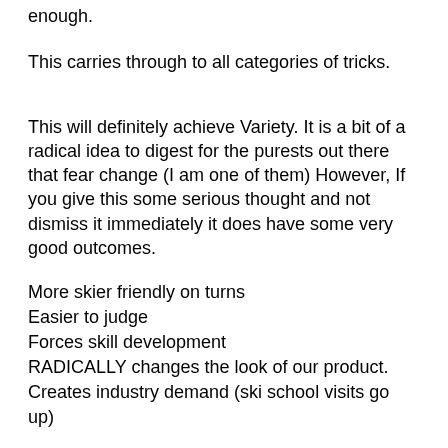enough.
This carries through to all categories of tricks.
This will definitely achieve Variety. It is a bit of a radical idea to digest for the purests out there that fear change (I am one of them) However, If you give this some serious thought and not dismiss it immediately it does have some very good outcomes.
More skier friendly on turns
Easier to judge
Forces skill development
RADICALLY changes the look of our product.
Creates industry demand (ski school visits go up)